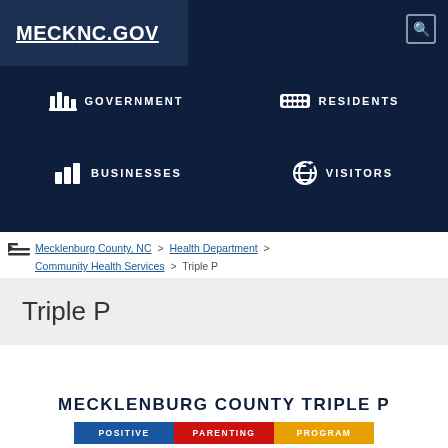MECKNC.GOV
[Figure (screenshot): Government website navigation menu with dark navy background showing MECKNC.GOV logo and four navigation items: GOVERNMENT, RESIDENTS, BUSINESSES, VISITORS with icons]
Mecklenburg County, NC > Health Department > Community Health Services > Triple P
Triple P
[Figure (logo): MECKLENBURG COUNTY TRIPLE P logo with three colored bars labeled POSITIVE, PARENTING, PROGRAM]